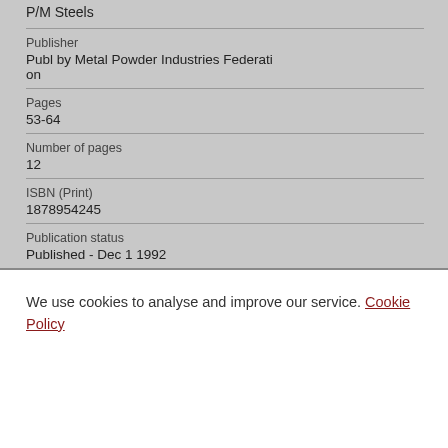P/M Steels
Publisher
Publ by Metal Powder Industries Federation
Pages
53-64
Number of pages
12
ISBN (Print)
1878954245
Publication status
Published - Dec 1 1992
We use cookies to analyse and improve our service. Cookie Policy